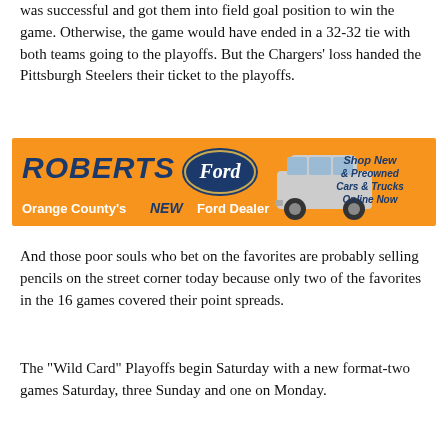was successful and got them into field goal position to win the game. Otherwise, the game would have ended in a 32-32 tie with both teams going to the playoffs. But the Chargers' loss handed the Pittsburgh Steelers their ticket to the playoffs.
[Figure (other): Roberts Ford advertisement banner. Orange background with 'ROBERTS Ford' logo on the left, a silver Ford SUV on the right, and text reading 'Orange County's NEW Ford Dealer' and 'Shop New & Preowned Cars & Trucks Online Now'.]
And those poor souls who bet on the favorites are probably selling pencils on the street corner today because only two of the favorites in the 16 games covered their point spreads.
The "Wild Card" Playoffs begin Saturday with a new format-two games Saturday, three Sunday and one on Monday.